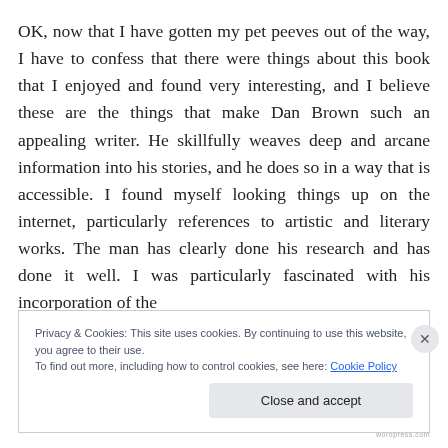OK, now that I have gotten my pet peeves out of the way, I have to confess that there were things about this book that I enjoyed and found very interesting, and I believe these are the things that make Dan Brown such an appealing writer. He skillfully weaves deep and arcane information into his stories, and he does so in a way that is accessible. I found myself looking things up on the internet, particularly references to artistic and literary works. The man has clearly done his research and has done it well. I was particularly fascinated with his incorporation of the
Privacy & Cookies: This site uses cookies. By continuing to use this website, you agree to their use.
To find out more, including how to control cookies, see here: Cookie Policy
Close and accept